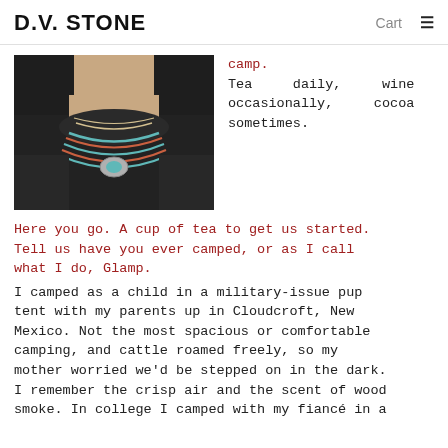D.V. STONE   Cart  ☰
[Figure (photo): Person wearing a colorful Southwestern-style necklace over a dark sweater, photo cropped at neck/chest level.]
camp.
Tea daily, wine occasionally, cocoa sometimes.
Here you go. A cup of tea to get us started. Tell us have you ever camped, or as I call what I do, Glamp.
I camped as a child in a military-issue pup tent with my parents up in Cloudcroft, New Mexico. Not the most spacious or comfortable camping, and cattle roamed freely, so my mother worried we'd be stepped on in the dark. I remember the crisp air and the scent of wood smoke. In college I camped with my fiancé in a